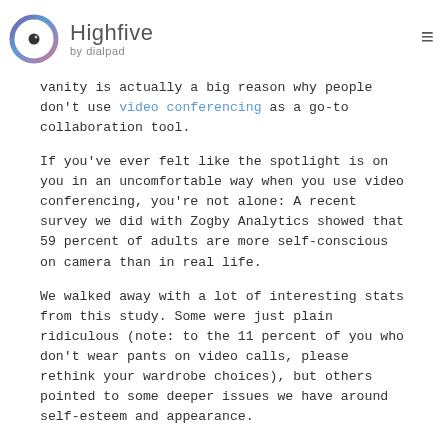[Figure (logo): Highfive by dialpad logo — circular eye icon with purple/blue/pink gradient ring and dark center dot, followed by text 'Highfive' and 'by dialpad']
vanity is actually a big reason why people don't use video conferencing as a go-to collaboration tool.
If you've ever felt like the spotlight is on you in an uncomfortable way when you use video conferencing, you're not alone: A recent survey we did with Zogby Analytics showed that 59 percent of adults are more self-conscious on camera than in real life.
We walked away with a lot of interesting stats from this study. Some were just plain ridiculous (note: to the 11 percent of you who don't wear pants on video calls, please rethink your wardrobe choices), but others pointed to some deeper issues we have around self-esteem and appearance.